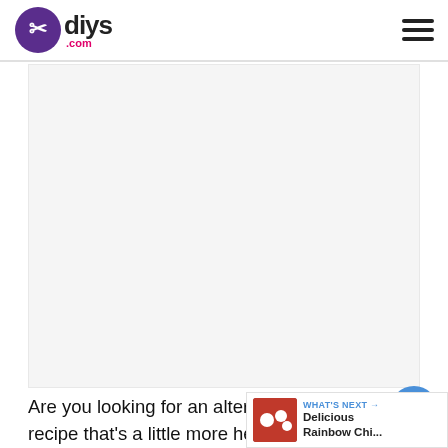diys.com
[Figure (other): Advertisement placeholder area (gray/white box)]
Are you looking for an alternative recipe that's a little more healthy than instant pudding? Using avocados as a base is both healthy and delicious. (Source: Mama's Weeds)